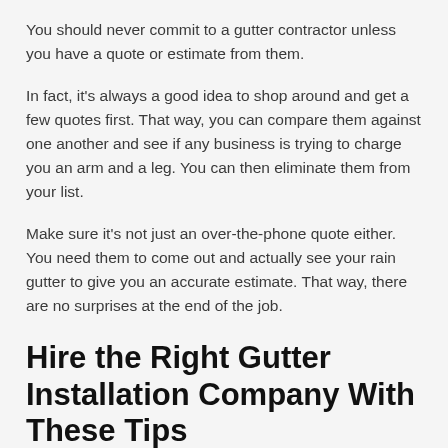You should never commit to a gutter contractor unless you have a quote or estimate from them.
In fact, it's always a good idea to shop around and get a few quotes first. That way, you can compare them against one another and see if any business is trying to charge you an arm and a leg. You can then eliminate them from your list.
Make sure it's not just an over-the-phone quote either. You need them to come out and actually see your rain gutter to give you an accurate estimate. That way, there are no surprises at the end of the job.
Hire the Right Gutter Installation Company With These Tips
With the gutter installation tips above, you'll